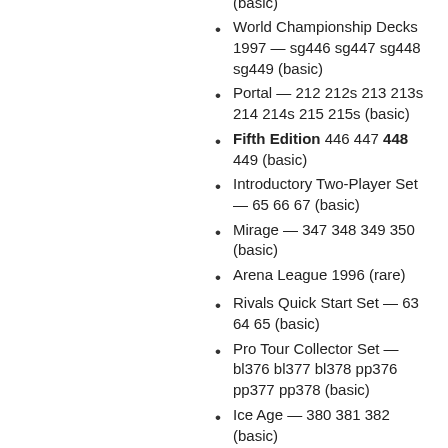Tempest — 311 313 315 333 (basic)
World Championship Decks 1997 — sg446 sg447 sg448 sg449 (basic)
Portal — 212 212s 213 213s 214 214s 215 215s (basic)
Fifth Edition 446 447 448 449 (basic)
Introductory Two-Player Set — 65 66 67 (basic)
Mirage — 347 348 349 350 (basic)
Arena League 1996 (rare)
Rivals Quick Start Set — 63 64 65 (basic)
Pro Tour Collector Set — bl376 bl377 bl378 pp376 pp377 pp378 (basic)
Ice Age — 380 381 382 (basic)
Fourth Edition — 376 377 378 (basic)
Revised Edition — 304 305 ...